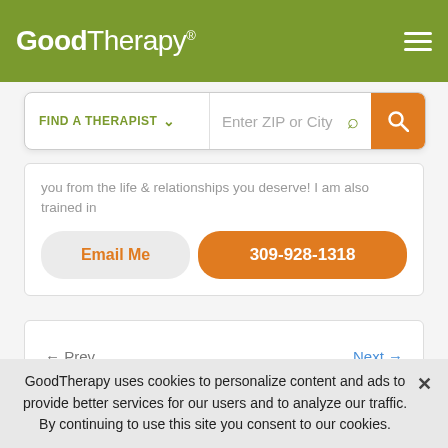GoodTherapy®
[Figure (screenshot): Search bar with 'FIND A THERAPIST' dropdown, 'Enter ZIP or City' input, location pin icon, and orange search button]
you from the life & relationships you deserve! I am also trained in
Email Me
309-928-1318
← Prev
Next →
The therapists listed are members of GoodTherapy and pay us a membership fee which helps support our services. By
GoodTherapy uses cookies to personalize content and ads to provide better services for our users and to analyze our traffic. By continuing to use this site you consent to our cookies.